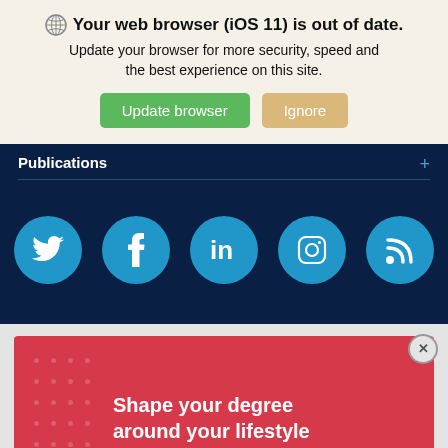Your web browser (iOS 11) is out of date. Update your browser for more security, speed and the best experience on this site. [Update browser] [Ignore]
Publications
[Figure (infographic): Five social media icons (Twitter, Facebook, LinkedIn, Instagram, RSS feed) as white icons centered in blue circles on a dark navy background]
[Figure (infographic): Red advertisement banner with dot pattern on left side and bold white text reading 'Shape your degree around your lifestyle'. Gray 'Top' button overlapping bottom right corner.]